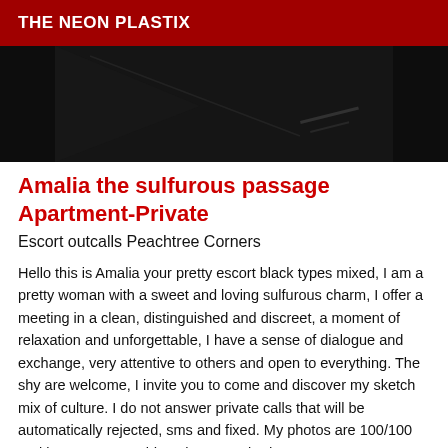THE NEON PLASTIX
[Figure (photo): Dark photograph, mostly black background with minimal detail visible]
Amalia the sulfurous passage Apartment-Private
Escort outcalls Peachtree Corners
Hello this is Amalia your pretty escort black types mixed, I am a pretty woman with a sweet and loving sulfurous charm, I offer a meeting in a clean, distinguished and discreet, a moment of relaxation and unforgettable, I have a sense of dialogue and exchange, very attentive to others and open to everything. The shy are welcome, I invite you to come and discover my sketch mix of culture. I do not answer private calls that will be automatically rejected, sms and fixed. My photos are 100/100 real it's me you would not have any bad